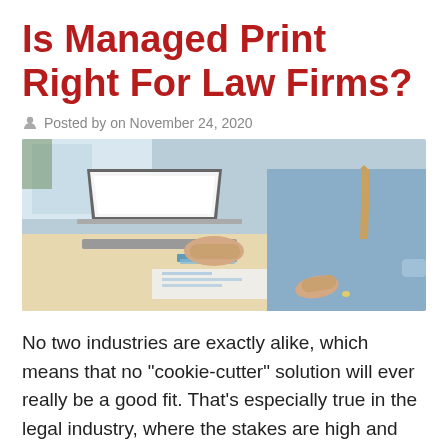Is Managed Print Right For Law Firms?
Posted by on November 24, 2020
[Figure (photo): A man in a light blue shirt and striped tie typing on a laptop while pointing at printed documents on a desk, in an office setting.]
No two industries are exactly alike, which means that no "cookie-cutter" solution will ever really be a good fit. That's especially true in the legal industry, where the stakes are high and the...